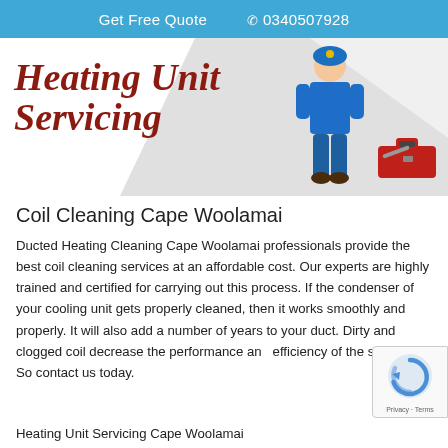Get Free Quote   0340507928
[Figure (illustration): Heating Unit Servicing logo with italic serif text in dark red, alongside an illustration of a technician in blue uniform and a red toolbox on a light grey triangular background.]
Coil Cleaning Cape Woolamai
Ducted Heating Cleaning Cape Woolamai professionals provide the best coil cleaning services at an affordable cost. Our experts are highly trained and certified for carrying out this process. If the condenser of your cooling unit gets properly cleaned, then it works smoothly and properly. It will also add a number of years to your duct. Dirty and clogged coil decrease the performance and efficiency of the system. So contact us today.
Heating Unit Servicing Cape Woolamai